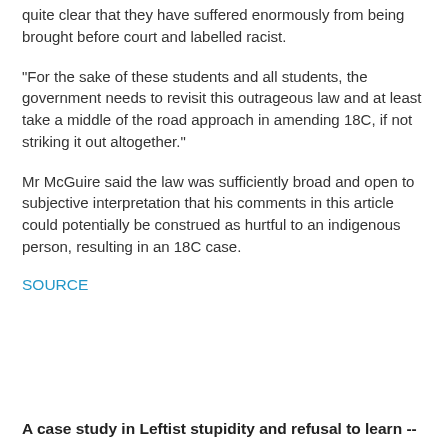quite clear that they have suffered enormously from being brought before court and labelled racist.
"For the sake of these students and all students, the government needs to revisit this outrageous law and at least take a middle of the road approach in amending 18C, if not striking it out altogether."
Mr McGuire said the law was sufficiently broad and open to subjective interpretation that his comments in this article could potentially be construed as hurtful to an indigenous person, resulting in an 18C case.
SOURCE
A case study in Leftist stupidity and refusal to learn --